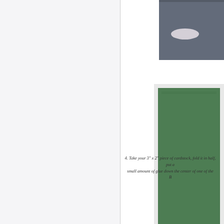[Figure (photo): Top right photo showing dark navy/grey cardstock with a small white oval cutout, partially cropped]
[Figure (photo): Middle right photo showing green cardstock lying flat with a white oval/pill shaped cutout near the bottom center]
4. Take your 3" x 2" piece of cardstock, fold it in half, put a small amount of glue down the center of one of the... B...
[Figure (photo): Bottom right photo showing dark navy patterned cardstock with a circular white element visible, partially cropped]